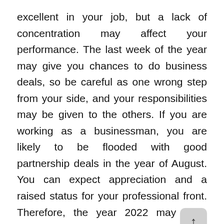excellent in your job, but a lack of concentration may affect your performance. The last week of the year may give you chances to do business deals, so be careful as one wrong step from your side, and your responsibilities may be given to the others. If you are working as a businessman, you are likely to be flooded with good partnership deals in the year of August. You can expect appreciation and a raised status for your professional front. Therefore, the year 2022 may have many achievements professionally.
According to Style Caster, ready or not, your career is heating up this year! By mid-May, Jupiter will activate your success-oriented 10th house, increasing your